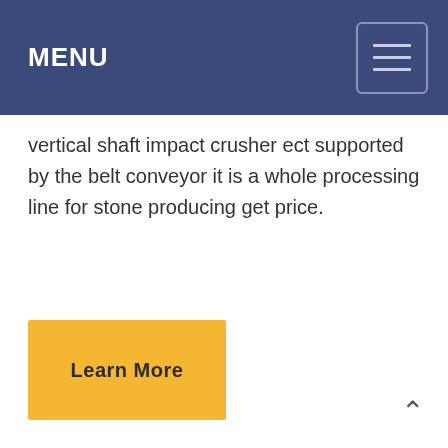MENU
vertical shaft impact crusher ect supported by the belt conveyor it is a whole processing line for stone producing get price.
Learn More